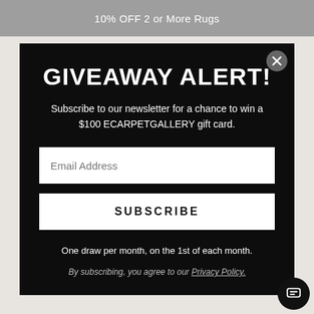10% OFF 2 or More Rugs
GIVEAWAY ALERT!
Subscribe to our newsletter for a chance to win a $100 ECARPETGALLERY gift card.
Email Address
SUBSCRIBE
One draw per month, on the 1st of each month.
By subscribing, you agree to our Privacy Policy.